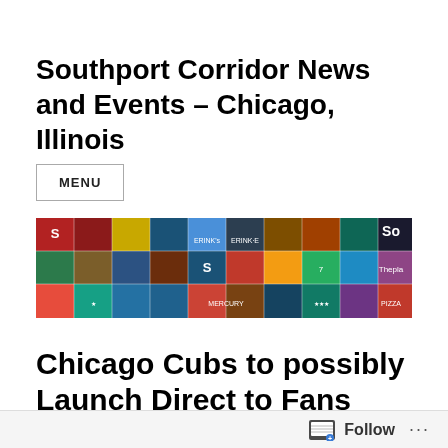Southport Corridor News and Events – Chicago, Illinois
MENU
[Figure (photo): A collage of photos showing storefronts, signs, restaurants, and street scenes from the Southport Corridor neighborhood in Chicago, Illinois.]
Chicago Cubs to possibly Launch Direct to Fans
Follow